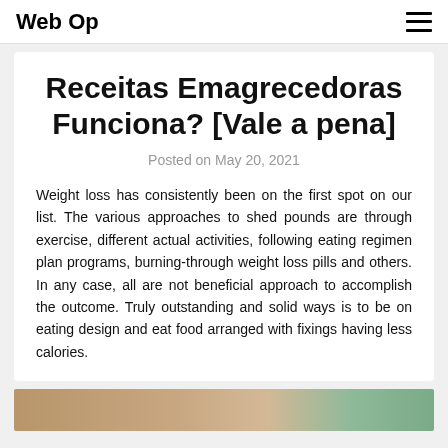Web Op
Receitas Emagrecedoras Funciona? [Vale a pena]
Posted on May 20, 2021
Weight loss has consistently been on the first spot on our list. The various approaches to shed pounds are through exercise, different actual activities, following eating regimen plan programs, burning-through weight loss pills and others. In any case, all are not beneficial approach to accomplish the outcome. Truly outstanding and solid ways is to be on eating design and eat food arranged with fixings having less calories.
[Figure (photo): Partial image strip at bottom of page]